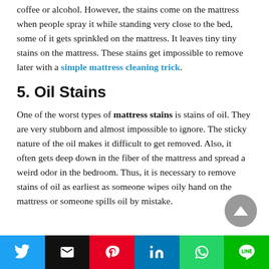coffee or alcohol. However, the stains come on the mattress when people spray it while standing very close to the bed, some of it gets sprinkled on the mattress. It leaves tiny tiny stains on the mattress. These stains get impossible to remove later with a simple mattress cleaning trick.
5. Oil Stains
One of the worst types of mattress stains is stains of oil. They are very stubborn and almost impossible to ignore. The sticky nature of the oil makes it difficult to get removed. Also, it often gets deep down in the fiber of the mattress and spread a weird odor in the bedroom. Thus, it is necessary to remove stains of oil as earliest as someone wipes oily hand on the mattress or someone spills oil by mistake.
[Figure (other): Social sharing bar with buttons for Twitter, Email, Pinterest, LinkedIn, WhatsApp, and LINE]